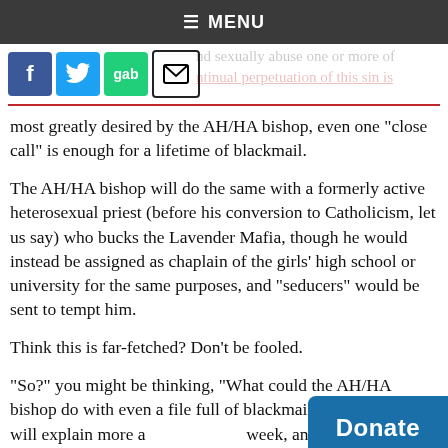≡ MENU
[Figure (other): Social media share buttons: Facebook, Twitter, Gab, Email]
nd sexually abuse one or more of ntinual perpetuation of this sin is
most greatly desired by the AH/HA bishop, even one "close call" is enough for a lifetime of blackmail.
The AH/HA bishop will do the same with a formerly active heterosexual priest (before his conversion to Catholicism, let us say) who bucks the Lavender Mafia, though he would instead be assigned as chaplain of the girls' high school or university for the same purposes, and "seducers" would be sent to tempt him.
Think this is far-fetched? Don't be fooled.
"So?" you might be thinking, "What could the AH/HA bishop do with even a file full of blackmail information?" I will explain more a week, and you will see why even the ex-p safe